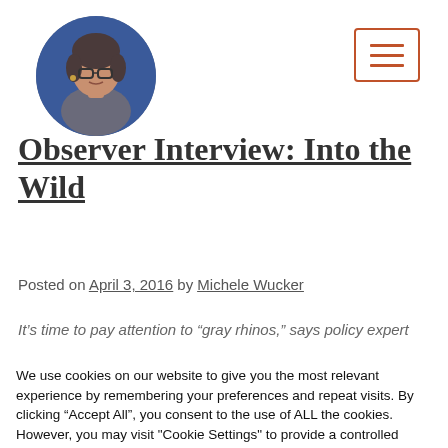[Figure (photo): Circular avatar photo of Michele Wucker, a woman with glasses, shot from below against a blue background]
Observer Interview: Into the Wild
Posted on April 3, 2016 by Michele Wucker
It’s time to pay attention to “gray rhinos,” says policy expert
We use cookies on our website to give you the most relevant experience by remembering your preferences and repeat visits. By clicking “Accept All”, you consent to the use of ALL the cookies. However, you may visit "Cookie Settings" to provide a controlled consent.
Cookie Settings | Accept All